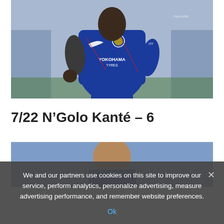[Figure (photo): N'Golo Kanté wearing Chelsea FC blue jersey with Yokohama Tyres sponsor, running on pitch]
7/22 N'Golo Kanté – 6
[Figure (photo): Partially visible photo of another Chelsea player, bottom portion of page]
We and our partners use cookies on this site to improve our service, perform analytics, personalize advertising, measure advertising performance, and remember website preferences.
Ok